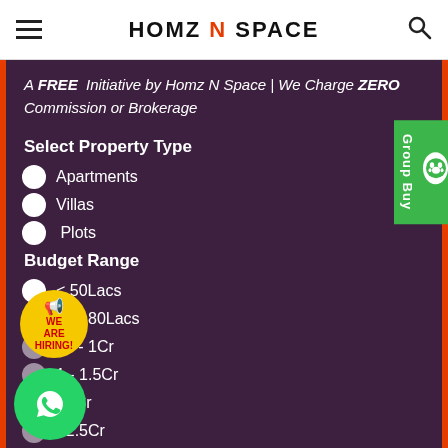HOMZ N SPACE
A FREE Initiative by Homz N Space | We Charge ZERO Commission or Brokerage
Select Property Type
Apartments
Villas
Plots
Budget Range
< 50Lacs
50 - 80Lacs
80 - 1Cr
1 - 1.5Cr
- 2Cr
- 2.5Cr
- 3Cr